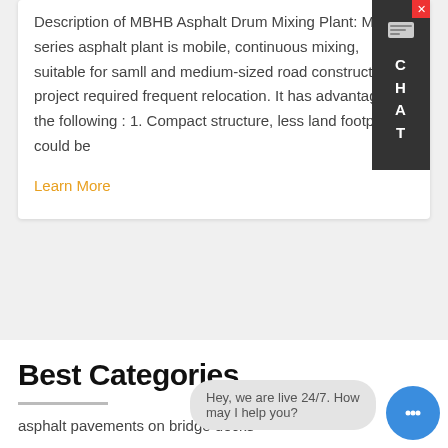Description of MBHB Asphalt Drum Mixing Plant: MBHB series asphalt plant is mobile, continuous mixing, suitable for samll and medium-sized road construction project required frequent relocation. It has advantages as the following : 1. Compact structure, less land footprint, could be
Learn More
Best Categories
Hey, we are live 24/7. How may I help you?
asphalt pavements on bridge decks